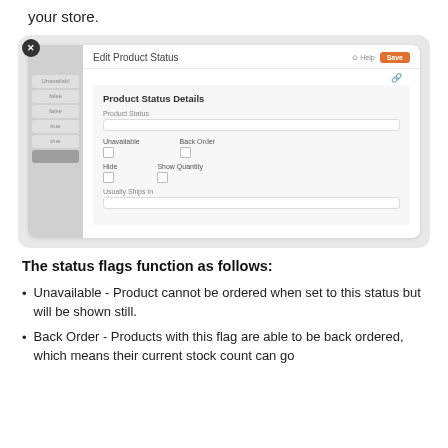your store.
[Figure (screenshot): Screenshot of 'Edit Product Status' modal dialog showing Product Status Details form with fields: Product Status (text input), checkboxes for Unavailable, Back Order, Hide, Show Quantity, and Usually Ships In text input. Orange Save button top right. Left sidebar visible with navigation items.]
The status flags function as follows:
Unavailable - Product cannot be ordered when set to this status but will be shown still.
Back Order - Products with this flag are able to be back ordered, which means their current stock count can go